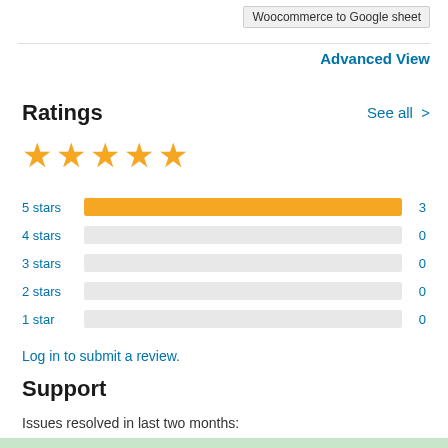Woocommerce to Google sheet
Advanced View
Ratings
See all >
[Figure (other): 5 gold stars rating]
[Figure (bar-chart): Ratings breakdown]
Log in to submit a review.
Support
Issues resolved in last two months: